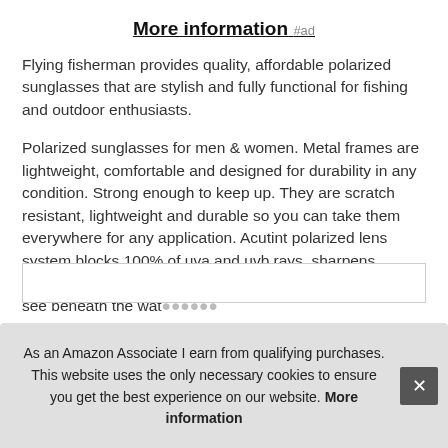More information #ad
Flying fisherman provides quality, affordable polarized sunglasses that are stylish and fully functional for fishing and outdoor enthusiasts.
Polarized sunglasses for men & women. Metal frames are lightweight, comfortable and designed for durability in any condition. Strong enough to keep up. They are scratch resistant, lightweight and durable so you can take them everywhere for any application. Acutint polarized lens system blocks 100% of uva and uvb rays, sharpens contrast and clarity, and eliminates glare, allowing you to see beneath the wate...
As an Amazon Associate I earn from qualifying purchases. This website uses the only necessary cookies to ensure you get the best experience on our website. More information